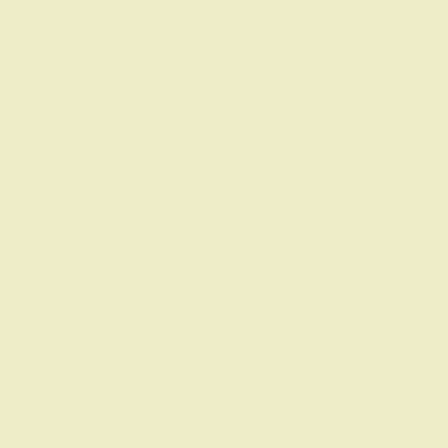times that the pressure is low, so does this means that the range of water w... disadvantage of this set-up is that sinc... area that is being watered constantly... corrected with the moving of the unit i... cause it to miss out a lot of areas in the...
To solve the problem we use the co... Newer versions are connected with the... maintain your garden. Unlike your conv... the water source.
The automated sprinkler system is usin... remains constant all throughout the h... steady pressure is not the only advanta... of the automated sprinkler system is the... hydration to ensure that all the surfaces...
I know what you might be thinking and ... like this will cost you a lot. Well, that is t... you a lot as well. Not only do you save... can be programmed to deliver a speci... time.
They are just some of the must-haves... This saves you time and money therefo...
Click here to Return from Sprinkler to B...